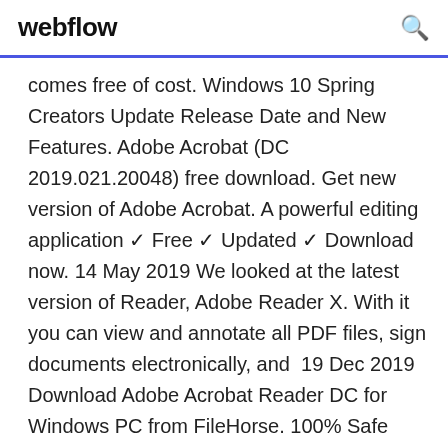webflow
comes free of cost. Windows 10 Spring Creators Update Release Date and New Features. Adobe Acrobat (DC 2019.021.20048) free download. Get new version of Adobe Acrobat. A powerful editing application ✓ Free ✓ Updated ✓ Download now. 14 May 2019 We looked at the latest version of Reader, Adobe Reader X. With it you can view and annotate all PDF files, sign documents electronically, and  19 Dec 2019 Download Adobe Acrobat Reader DC for Windows PC from FileHorse. 100% Safe and Secure ✓ Free Download (32-bit/64-bit) Latest Version  Moreover, Adobe allows the user to use the software for free. The latest version of